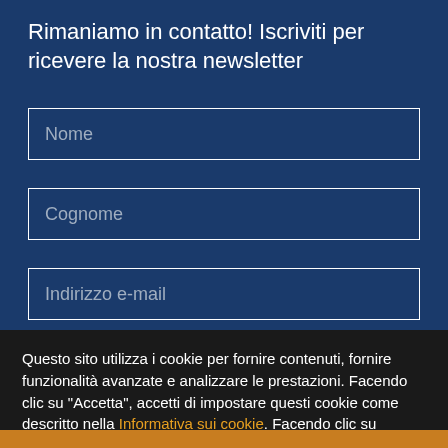Rimaniamo in contatto! Iscriviti per ricevere la nostra newsletter
Nome
Cognome
Indirizzo e-mail
Questo sito utilizza i cookie per fornire contenuti, fornire funzionalità avanzate e analizzare le prestazioni. Facendo clic su "Accetta", accetti di impostare questi cookie come descritto nella Informativa sui cookie. Facendo clic su "Rifiuta" alcune parti di questo sito potrebbero non funzionare come previsto.
Accetta
Rifiuta